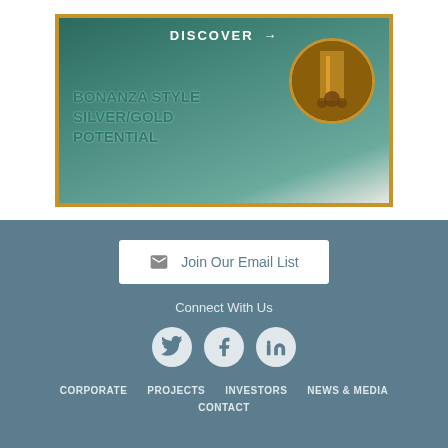[Figure (illustration): Mining promotional banner with gold border, aerial landscape background, text reading DISCOVER / BONANZA STYLE / SILVER/GOLD / POTENTIAL, and a circular gold-toned image of a mine shaft]
Join Our Email List
Connect With Us
[Figure (infographic): Three social media icon circles: Twitter (bird), Facebook (f), LinkedIn (in)]
CORPORATE   PROJECTS   INVESTORS   NEWS & MEDIA   CONTACT